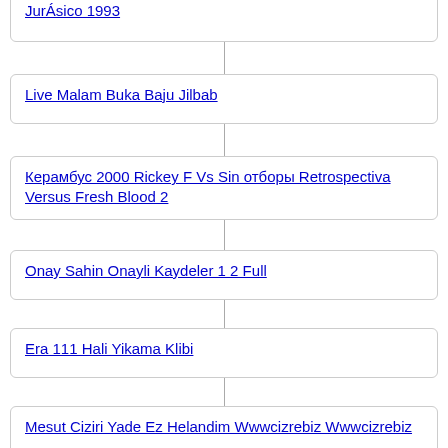JurÁsico 1993
Live Malam Buka Baju Jilbab
Керамбус 2000 Rickey F Vs Sin отборы Retrospectiva Versus Fresh Blood 2
Onay Sahin Onayli Kaydeler 1 2 Full
Era 111 Hali Yikama Klibi
Mesut Ciziri Yade Ez Helandim Wwwcizrebiz Wwwcizrebiz